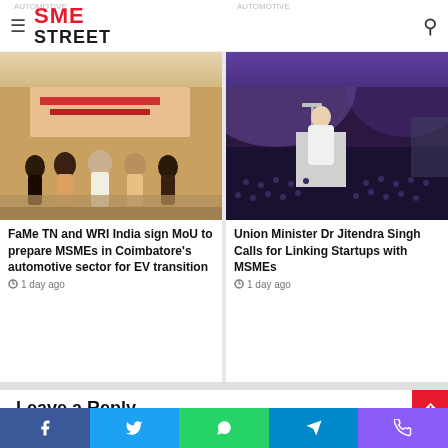SME STREET
[Figure (photo): Group photo at Tamil Nadu automotive event with banner in background]
FaMe TN and WRI India sign MoU to prepare MSMEs in Coimbatore's automotive sector for EV transition
1 day ago
[Figure (photo): Union Minister Dr Jitendra Singh speaking at podium with audience in background]
Union Minister Dr Jitendra Singh Calls for Linking Startups with MSMEs
1 day ago
Leave a Reply
Your email address will not be published. Required fields are
Facebook Twitter WhatsApp Telegram Phone